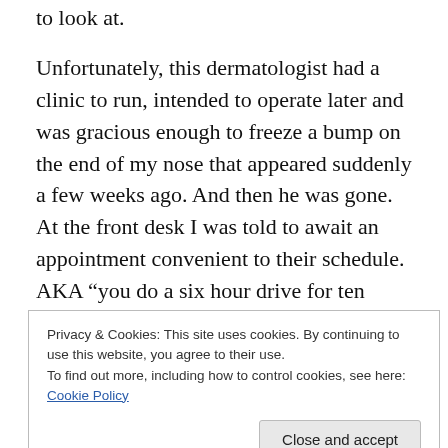to look at.
Unfortunately, this dermatologist had a clinic to run, intended to operate later and was gracious enough to freeze a bump on the end of my nose that appeared suddenly a few weeks ago. And then he was gone. At the front desk I was told to await an appointment convenient to their schedule. AKA “you do a six hour drive for ten minutes of my time and then do it again for this simple operation which will be booked in the AM so next time will also include an overnight hotel stay.” No consideration for the patient? You bet.
Privacy & Cookies: This site uses cookies. By continuing to use this website, you agree to their use.
To find out more, including how to control cookies, see here: Cookie Policy
Close and accept
for you, but to make this more more in clinic, then give me...